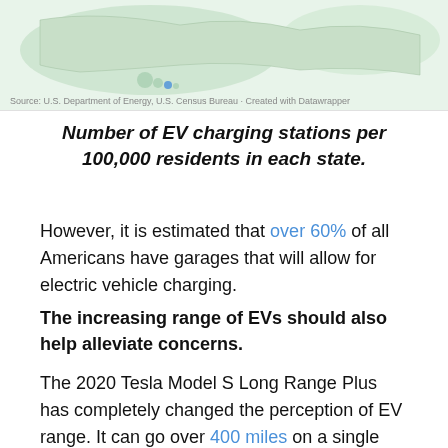[Figure (map): Partial map of the US showing EV charging station density per 100,000 residents by state, with Hawaii inset visible]
Source: U.S. Department of Energy, U.S. Census Bureau · Created with Datawrapper
Number of EV charging stations per 100,000 residents in each state.
However, it is estimated that over 60% of all Americans have garages that will allow for electric vehicle charging.
The increasing range of EVs should also help alleviate concerns.
The 2020 Tesla Model S Long Range Plus has completely changed the perception of EV range. It can go over 400 miles on a single charge.
Tesla scrapped plans for a Model S Plaid+ after the